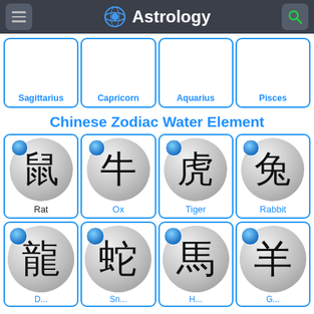Astrology
Sagittarius
Capricorn
Aquarius
Pisces
Chinese Zodiac Water Element
Rat
Ox
Tiger
Rabbit
Dragon
Snake
Horse
Goat